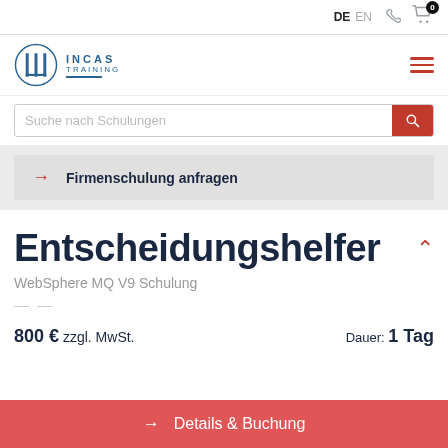DE  EN
[Figure (logo): INCAS Training logo with stylized column icon]
Suche nach Schulungen
→ Firmenschulung anfragen
Entscheidungshelfer
WebSphere MQ V9 Schulung
800 € zzgl. MwSt.   Dauer: 1 Tag
→ Details & Buchung